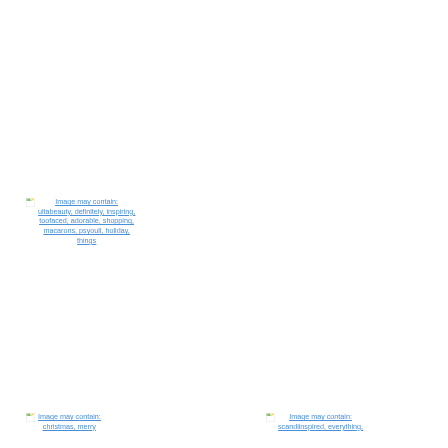[Figure (photo): Broken image placeholder with caption: Image may contain: ultabeauty, definitely, inspiring, toofaced, adorable, shopping, macarons, psyoull, holiday, things]
Image may contain: ultabeauty, definitely, inspiring, toofaced, adorable, shopping, macarons, psyoull, holiday, things
[Figure (photo): Broken image placeholder with caption: Image may contain: christmas, merry]
Image may contain: christmas, merry
[Figure (photo): Broken image placeholder with caption: Image may contain: scandiinspired, everything,]
Image may contain: scandiinspired, everything,